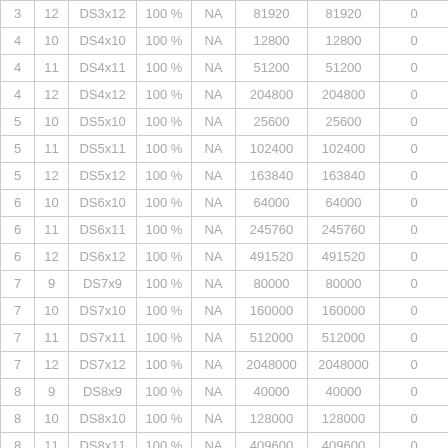| 3 | 12 | DS3x12 | 100 % | NA | 81920 | 81920 | 0 |
| 4 | 10 | DS4x10 | 100 % | NA | 12800 | 12800 | 0 |
| 4 | 11 | DS4x11 | 100 % | NA | 51200 | 51200 | 0 |
| 4 | 12 | DS4x12 | 100 % | NA | 204800 | 204800 | 0 |
| 5 | 10 | DS5x10 | 100 % | NA | 25600 | 25600 | 0 |
| 5 | 11 | DS5x11 | 100 % | NA | 102400 | 102400 | 0 |
| 5 | 12 | DS5x12 | 100 % | NA | 163840 | 163840 | 0 |
| 6 | 10 | DS6x10 | 100 % | NA | 64000 | 64000 | 0 |
| 6 | 11 | DS6x11 | 100 % | NA | 245760 | 245760 | 0 |
| 6 | 12 | DS6x12 | 100 % | NA | 491520 | 491520 | 0 |
| 7 | 9 | DS7x9 | 100 % | NA | 80000 | 80000 | 0 |
| 7 | 10 | DS7x10 | 100 % | NA | 160000 | 160000 | 0 |
| 7 | 11 | DS7x11 | 100 % | NA | 512000 | 512000 | 0 |
| 7 | 12 | DS7x12 | 100 % | NA | 2048000 | 2048000 | 0 |
| 8 | 9 | DS8x9 | 100 % | NA | 40000 | 40000 | 0 |
| 8 | 10 | DS8x10 | 100 % | NA | 128000 | 128000 | 0 |
| 8 | 11 | DS8x11 | 100 % | NA | 409600 | 409600 | 0 |
| 8 | 12 | DS8x12 | 100 % | NA | 819200 | 819200 | 0 |
| 9 | 8 | DS9x8 | 100 % | NA | 81920 | 81920 | 0 |
| 9 | 9 | DS9x9 | 100 % | NA | 384000 | 384000 | 0 |